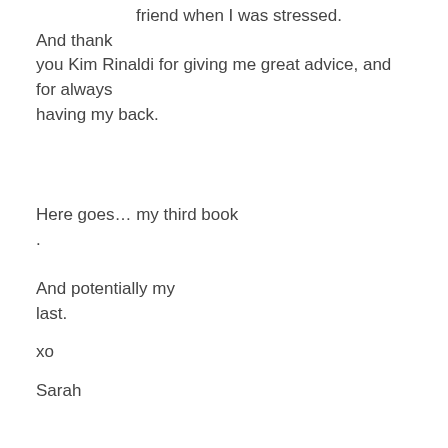friend when I was stressed. And thank you Kim Rinaldi for giving me great advice, and for always having my back.
Here goes… my third book. And potentially my last.
xo
Sarah